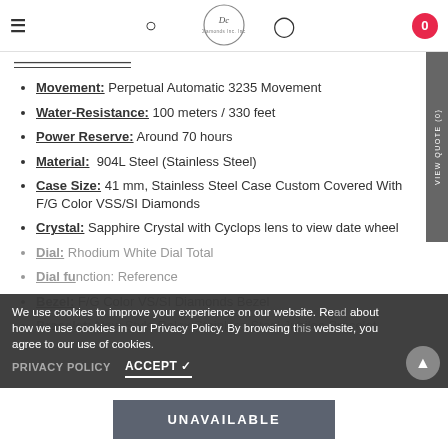Navigation bar with hamburger menu, search icon, logo, user icon, cart (0)
Movement: Perpetual Automatic 3235 Movement
Water-Resistance: 100 meters / 330 feet
Power Reserve: Around 70 hours
Material: 904L Steel (Stainless Steel)
Case Size: 41 mm, Stainless Steel Case Custom Covered With F/G Color VSS/SI Diamonds
Crystal: Sapphire Crystal with Cyclops lens to view date wheel
Dial: Rhodium White Dial Total
Dial function: Reference
Bezel: F/G Color VS/SI Diamonds Bezel
Bracelet: New Style Rolex Stainless Steel Jubilee Bracelet
We use cookies to improve your experience on our website. Read about how we use cookies in our Privacy Policy. By browsing this website, you agree to our use of cookies.
PRIVACY POLICY   ACCEPT ✓
UNAVAILABLE